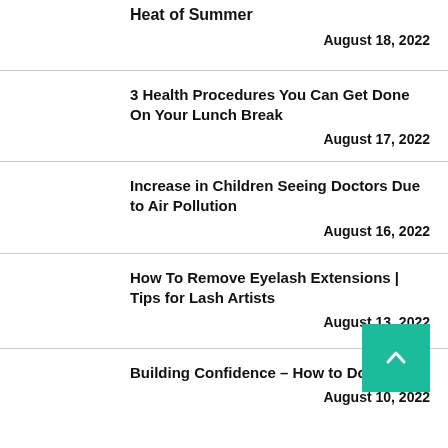Heat of Summer
August 18, 2022
3 Health Procedures You Can Get Done On Your Lunch Break
August 17, 2022
Increase in Children Seeing Doctors Due to Air Pollution
August 16, 2022
How To Remove Eyelash Extensions | Tips for Lash Artists
August 13, 2022
Building Confidence – How to Do It?
August 10, 2022